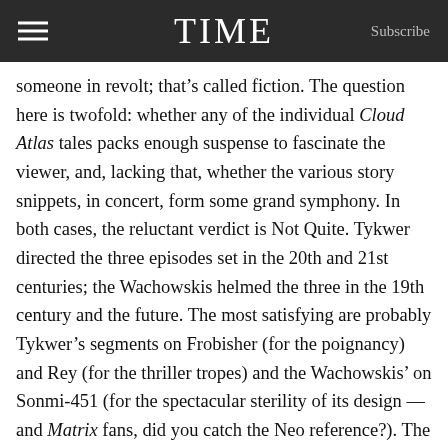TIME
someone in revolt; that’s called fiction. The question here is twofold: whether any of the individual Cloud Atlas tales packs enough suspense to fascinate the viewer, and, lacking that, whether the various story snippets, in concert, form some grand symphony. In both cases, the reluctant verdict is Not Quite. Tykwer directed the three episodes set in the 20th and 21st centuries; the Wachowskis helmed the three in the 19th century and the future. The most satisfying are probably Tykwer’s segments on Frobisher (for the poignancy) and Rey (for the thriller tropes) and the Wachowskis’ on Sonmi-451 (for the spectacular sterility of its design — and Matrix fans, did you catch the Neo reference?). The entire movie is no chore to sit through, but the emotional momentum grinds to a halt in the final, tribal chapter, in part because the screenwriters remain faithful to the pidgin English dialect that Mitchell created, and which is much easier for the eye to translate than the ear.